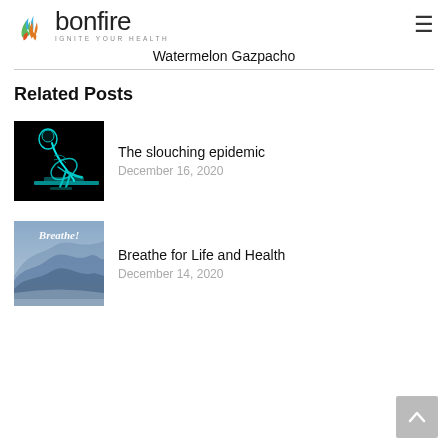bonfire — IGNITE YOUR HEALTH
Watermelon Gazpacho
Related Posts
[Figure (photo): X-ray skeleton of a person slouching over a desk/keyboard, glowing cyan on black background]
The slouching epidemic
December 16, 2020
[Figure (photo): Blue misty mountain landscape with 'Breathe!' text overlay in cursive on a blue background]
Breathe for Life and Health
December 14, 2020